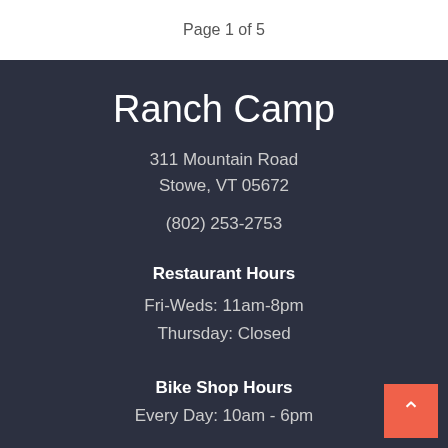Page 1 of 5
Ranch Camp
311 Mountain Road
Stowe, VT 05672
(802) 253-2753
Restaurant Hours
Fri-Weds: 11am-8pm
Thursday: Closed
Bike Shop Hours
Every Day: 10am - 6pm